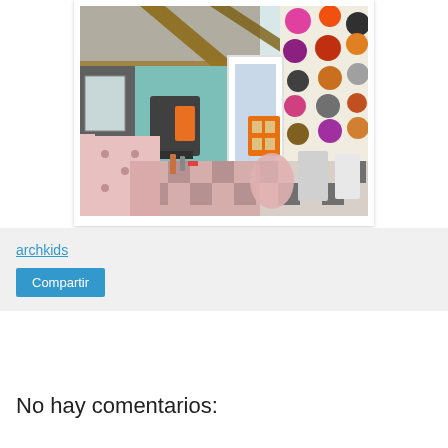[Figure (photo): Interior of a colorful children's restaurant or play area with wooden roof beams, checkered black and white floor, pink booth seating with polka dots, orange cage-style shelving unit, teal/blue walls, and a polka dot wall decoration with colorful circles]
archkids
Compartir
No hay comentarios: